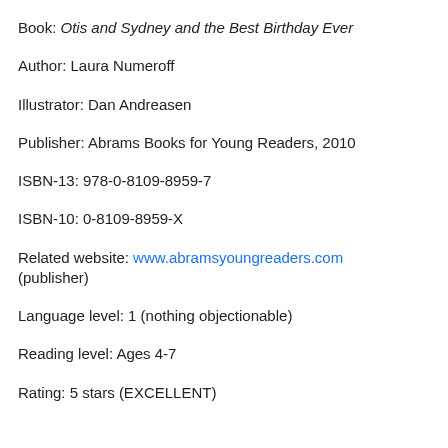Book: Otis and Sydney and the Best Birthday Ever
Author: Laura Numeroff
Illustrator: Dan Andreasen
Publisher: Abrams Books for Young Readers, 2010
ISBN-13: 978-0-8109-8959-7
ISBN-10: 0-8109-8959-X
Related website: www.abramsyoungreaders.com (publisher)
Language level: 1 (nothing objectionable)
Reading level: Ages 4-7
Rating: 5 stars (EXCELLENT)